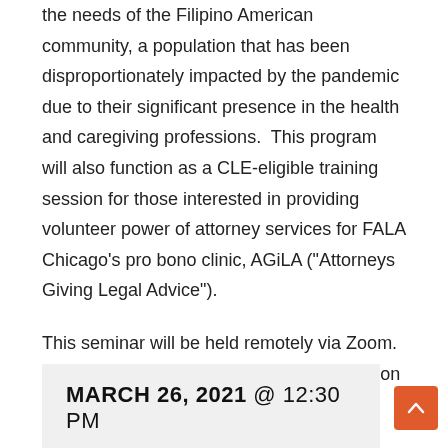the needs of the Filipino American community, a population that has been disproportionately impacted by the pandemic due to their significant presence in the health and caregiving professions.  This program will also function as a CLE-eligible training session for those interested in providing volunteer power of attorney services for FALA Chicago's pro bono clinic, AGiLA ("Attorneys Giving Legal Advice").
This seminar will be held remotely via Zoom. Attendees will receive login instructions upon registration.
MARCH 26, 2021 @ 12:30 PM